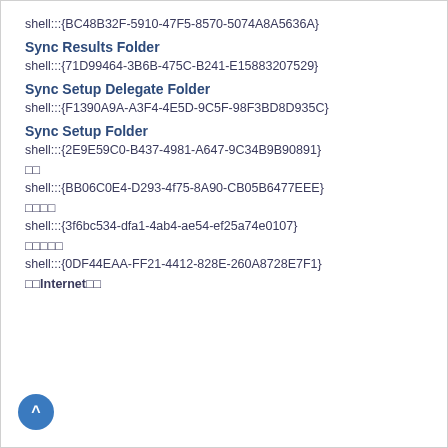shell:::{BC48B32F-5910-47F5-8570-5074A8A5636A}
Sync Results Folder
shell:::{71D99464-3B6B-475C-B241-E15883207529}
Sync Setup Delegate Folder
shell:::{F1390A9A-A3F4-4E5D-9C5F-98F3BD8D935C}
Sync Setup Folder
shell:::{2E9E59C0-B437-4981-A647-9C34B9B90891}
□□
shell:::{BB06C0E4-D293-4f75-8A90-CB05B6477EEE}
□□□□
shell:::{3f6bc534-dfa1-4ab4-ae54-ef25a74e0107}
□□□□□
shell:::{0DF44EAA-FF21-4412-828E-260A8728E7F1}
□□Internet□□